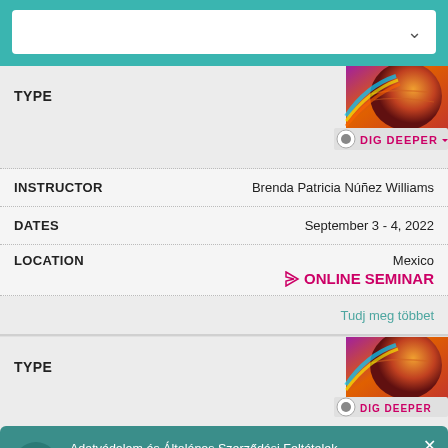[Figure (screenshot): Dropdown/search box UI element with teal background and white input field]
TYPE
[Figure (logo): Dig Deeper badge with cosmic/planet imagery and DIG DEEPER text]
INSTRUCTOR	Brenda Patricia Núñez Williams
DATES	September 3 - 4, 2022
LOCATION	Mexico
⬥ ONLINE SEMINAR
Tudj meg többet
TYPE
[Figure (logo): Dig Deeper badge second instance]
Adatvédelem és Általános Szerződési Feltételek
Ezen oldal használatával Ön elfogadja a Adatvédelmi irányelvek és Szolgáltatás feltételei.
DATES	September 3 - 4, 2022